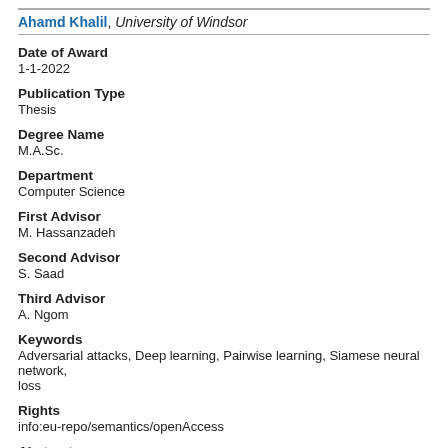Ahamd Khalil, University of Windsor
Date of Award
1-1-2022
Publication Type
Thesis
Degree Name
M.A.Sc.
Department
Computer Science
First Advisor
M. Hassanzadeh
Second Advisor
S. Saad
Third Advisor
A. Ngom
Keywords
Adversarial attacks, Deep learning, Pairwise learning, Siamese neural network, loss
Rights
info:eu-repo/semantics/openAccess
Abstract